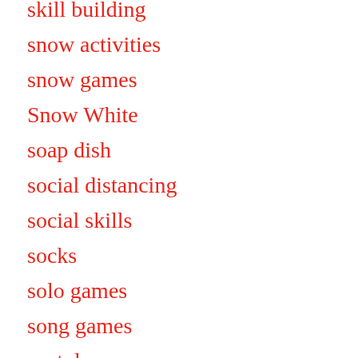skill building
snow activities
snow games
Snow White
soap dish
social distancing
social skills
socks
solo games
song games
spatula
spelling games
spider
spoons